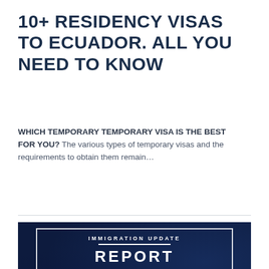10+ RESIDENCY VISAS TO ECUADOR. ALL YOU NEED TO KNOW
WHICH TEMPORARY TEMPORARY VISA IS THE BEST FOR YOU? The various types of temporary visas and the requirements to obtain them remain…
[Figure (illustration): Immigration Update Report cover image with EcuaAssist logo on dark navy background with white border frame]